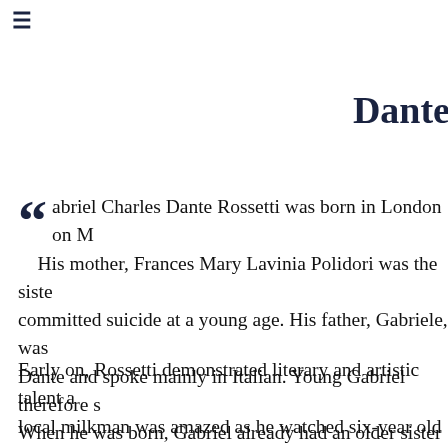≡
Dante
Gabriel Charles Dante Rossetti was born in London on M… His mother, Frances Mary Lavinia Polidori was the siste… committed suicide at a young age. His father, Gabriele, was Dante and spoke mainly in Italian. Young Gabriel therefore s… When he was born, Gabriel already had an older sister Mari… were the next additions to the family.
Early on, Rossetti demonstrated literary and artistic talent a… local milkman was amazed as he watched six-year old Gabr… Rossetti entered the Sass's Academy art school, a preparat… exercises and often just stayed at home to paint what he des… it just as dull as Sass's. What's more, his growing interest in…